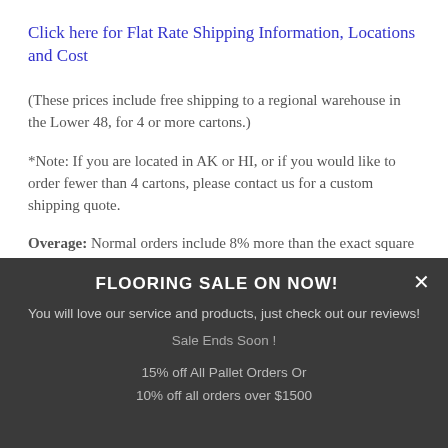Click here for Flat Rate Shipping Information, Locations and Cost
(These prices include free shipping to a regional warehouse in the Lower 48, for 4 or more cartons.)
*Note: If you are located in AK or HI, or if you would like to order fewer than 4 cartons, please contact us for a custom shipping quote.
Overage: Normal orders include 8% more than the exact square footage of the room. It can be useful to
FLOORING SALE ON NOW!
You will love our service and products, just check out our reviews!
Sale Ends Soon !
15% off All Pallet Orders Or
10% off all orders over $1500